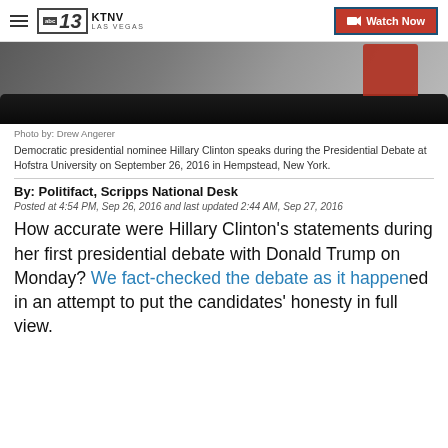KTNV LAS VEGAS | Watch Now
[Figure (photo): Hillary Clinton in a red jacket at a debate podium, partially visible, dark background]
Photo by: Drew Angerer
Democratic presidential nominee Hillary Clinton speaks during the Presidential Debate at Hofstra University on September 26, 2016 in Hempstead, New York.
By: Politifact, Scripps National Desk
Posted at 4:54 PM, Sep 26, 2016 and last updated 2:44 AM, Sep 27, 2016
How accurate were Hillary Clinton's statements during her first presidential debate with Donald Trump on Monday? We fact-checked the debate as it happened in an attempt to put the candidates' honesty in full view.